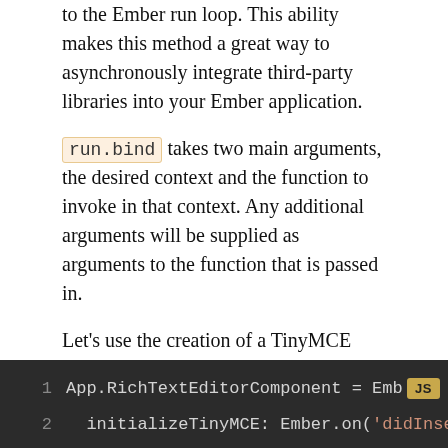to the Ember run loop. This ability makes this method a great way to asynchronously integrate third-party libraries into your Ember application.
run.bind takes two main arguments, the desired context and the function to invoke in that context. Any additional arguments will be supplied as arguments to the function that is passed in.
Let's use the creation of a TinyMCE component as an example. Currently, TinyMCE provides a setup configuration option we can use to do some processing after the TinyMCE instance is initialized but before it is actually rendered. We can use that setup option to do some additional setup for our component. The component itself could look something like the following:
[Figure (screenshot): Code block showing JavaScript: line 1: 'App.RichTextEditorComponent = Emb...' and line 2: '  initializeTinyMCE: Ember.on(\'didInse...' with a JS badge in the top right corner. Dark theme editor.]